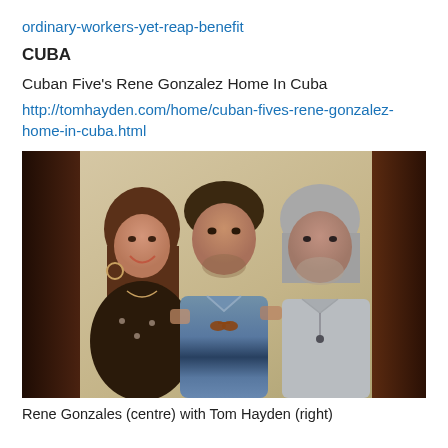ordinary-workers-yet-reap-benefit
CUBA
Cuban Five's Rene Gonzalez Home In Cuba
http://tomhayden.com/home/cuban-fives-rene-gonzalez-home-in-cuba.html
[Figure (photo): Three people posing together indoors. A woman on the left with brown hair smiling, a man in the center wearing a blue striped polo shirt, and an older man on the right with gray hair wearing a light gray t-shirt.]
Rene Gonzales (centre) with Tom Hayden (right)